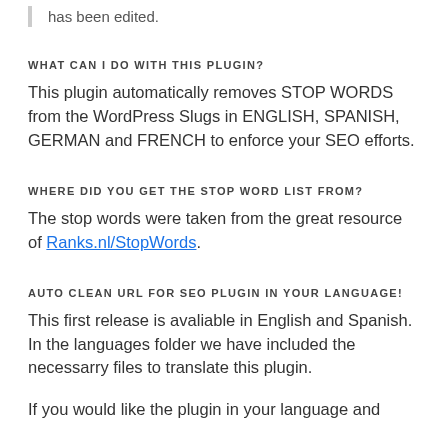has been edited.
WHAT CAN I DO WITH THIS PLUGIN?
This plugin automatically removes STOP WORDS from the WordPress Slugs in ENGLISH, SPANISH, GERMAN and FRENCH to enforce your SEO efforts.
WHERE DID YOU GET THE STOP WORD LIST FROM?
The stop words were taken from the great resource of Ranks.nl/StopWords.
AUTO CLEAN URL FOR SEO PLUGIN IN YOUR LANGUAGE!
This first release is avaliable in English and Spanish. In the languages folder we have included the necessarry files to translate this plugin.
If you would like the plugin in your language and